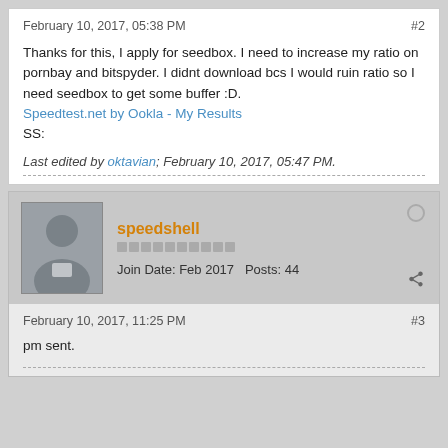February 10, 2017, 05:38 PM  #2
Thanks for this, I apply for seedbox. I need to increase my ratio on pornbay and bitspyder. I didnt download bcs I would ruin ratio so I need seedbox to get some buffer :D.
Speedtest.net by Ookla - My Results
SS:
Last edited by oktavian; February 10, 2017, 05:47 PM.
speedshell
Join Date: Feb 2017   Posts: 44
February 10, 2017, 11:25 PM  #3
pm sent.